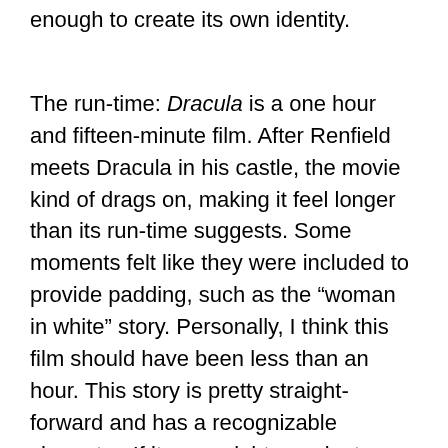some differences from the 1922 film, it wasn't enough to create its own identity.
The run-time: Dracula is a one hour and fifteen-minute film. After Renfield meets Dracula in his castle, the movie kind of drags on, making it feel longer than its run-time suggests. Some moments felt like they were included to provide padding, such as the “woman in white” story. Personally, I think this film should have been less than an hour. This story is pretty straight-forward and has a recognizable character. If it were eighty or ninety minutes, the film could get straight to the point sooner.